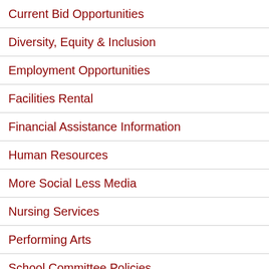Current Bid Opportunities
Diversity, Equity & Inclusion
Employment Opportunities
Facilities Rental
Financial Assistance Information
Human Resources
More Social Less Media
Nursing Services
Performing Arts
School Committee Policies
Strategic Plan
Student Enrollment & Assignment Information
Find Your Elementary School District